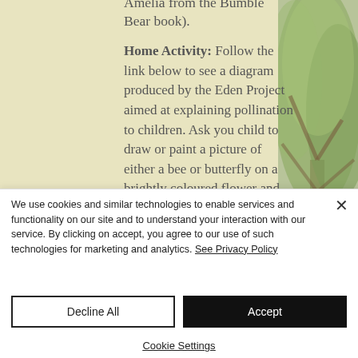Amelia from the Bumble Bear book).
Home Activity: Follow the link below to see a diagram produced by the Eden Project aimed at explaining pollination to children. Ask you child to draw or paint a picture of either a bee or butterfly on a brightly coloured flower and upload it to Tapestry.
[Figure (photo): A tree with leaves photographed from below, partially visible on the right side of the page]
We use cookies and similar technologies to enable services and functionality on our site and to understand your interaction with our service. By clicking on accept, you agree to our use of such technologies for marketing and analytics. See Privacy Policy
Decline All
Accept
Cookie Settings